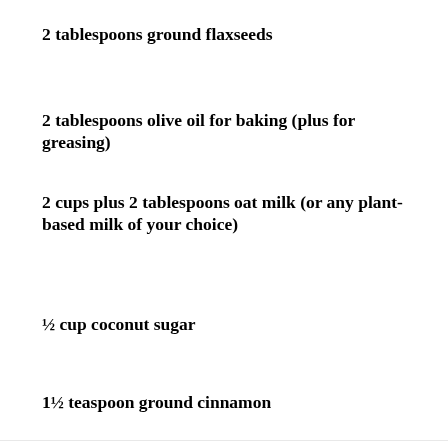2 tablespoons ground flaxseeds
2 tablespoons olive oil for baking (plus for greasing)
2 cups plus 2 tablespoons oat milk (or any plant-based milk of your choice)
½ cup coconut sugar
1½ teaspoon ground cinnamon
1½ teaspoon ground nutmeg (faded)
½ cup raw walnuts (faded)
1/3 cup raisins (faded)
BALTIMORE JEWISH TIMES IS HERE FOR YOU
Your voluntary contribution supports our efforts to deliver content that engages and helps strengthen the Jewish community in the greater Baltimore area.
CONTRIBUTE